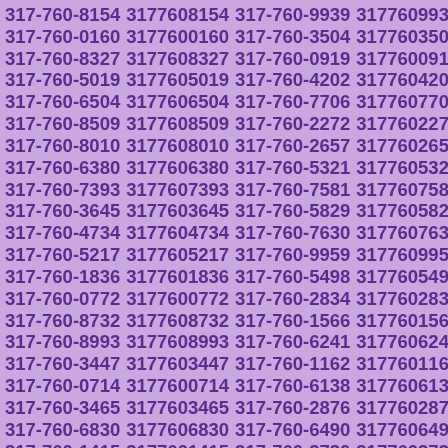| 317-760-8154 | 3177608154 | 317-760-9939 | 3177609939 |
| 317-760-0160 | 3177600160 | 317-760-3504 | 3177603504 |
| 317-760-8327 | 3177608327 | 317-760-0919 | 3177600919 |
| 317-760-5019 | 3177605019 | 317-760-4202 | 3177604202 |
| 317-760-6504 | 3177606504 | 317-760-7706 | 3177607706 |
| 317-760-8509 | 3177608509 | 317-760-2272 | 3177602272 |
| 317-760-8010 | 3177608010 | 317-760-2657 | 3177602657 |
| 317-760-6380 | 3177606380 | 317-760-5321 | 3177605321 |
| 317-760-7393 | 3177607393 | 317-760-7581 | 3177607581 |
| 317-760-3645 | 3177603645 | 317-760-5829 | 3177605829 |
| 317-760-4734 | 3177604734 | 317-760-7630 | 3177607630 |
| 317-760-5217 | 3177605217 | 317-760-9959 | 3177609959 |
| 317-760-1836 | 3177601836 | 317-760-5498 | 3177605498 |
| 317-760-0772 | 3177600772 | 317-760-2834 | 3177602834 |
| 317-760-8732 | 3177608732 | 317-760-1566 | 3177601566 |
| 317-760-8993 | 3177608993 | 317-760-6241 | 3177606241 |
| 317-760-3447 | 3177603447 | 317-760-1162 | 3177601162 |
| 317-760-0714 | 3177600714 | 317-760-6138 | 3177606138 |
| 317-760-3465 | 3177603465 | 317-760-2876 | 3177602876 |
| 317-760-6830 | 3177606830 | 317-760-6490 | 3177606490 |
| 317-760-1415 | 3177601415 | 317-760-3730 | 3177603730 |